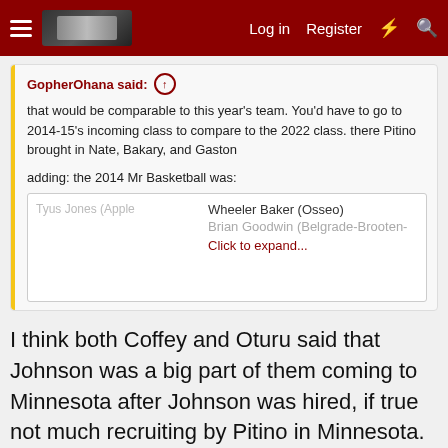Log in  Register
GopherOhana said:
that would be comparable to this year's team. You'd have to go to 2014-15's incoming class to compare to the 2022 class. there Pitino brought in Nate, Bakary, and Gaston
adding: the 2014 Mr Basketball was:
| Tyus Jones (Apple | Wheeler Baker (Osseo) |
|  | Brian Goodwin (Belgrade-Brooten- |
Click to expand...
I think both Coffey and Oturu said that Johnson was a big part of them coming to Minnesota after Johnson was hired, if true not much recruiting by Pitino in Minnesota.
CoMn and salzie